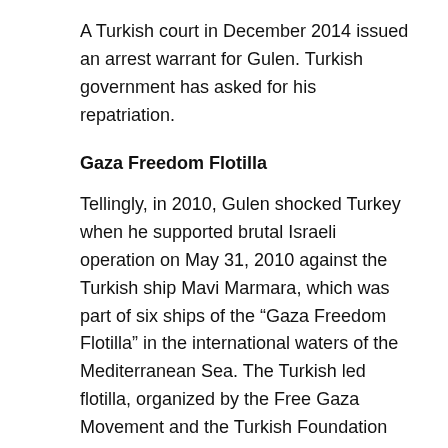A Turkish court in December 2014 issued an arrest warrant for Gulen. Turkish government has asked for his repatriation.
Gaza Freedom Flotilla
Tellingly, in 2010, Gulen shocked Turkey when he supported brutal Israeli operation on May 31, 2010 against the Turkish ship Mavi Marmara, which was part of six ships of the “Gaza Freedom Flotilla” in the international waters of the Mediterranean Sea. The Turkish led flotilla, organized by the Free Gaza Movement and the Turkish Foundation for Human Rights and Freedoms and Humanitarian Relief (degreesHH), was carrying humanitarian aid and construction materials, with the intention of breaking the illegal and inhumane Israeli-Egyptian blockade